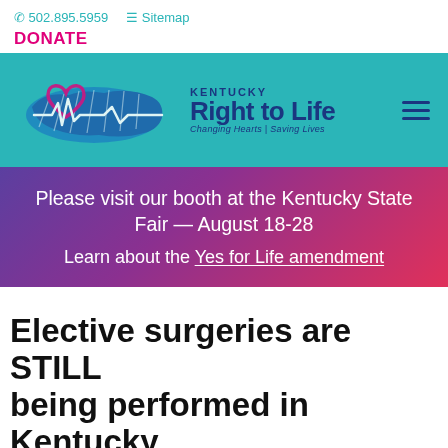☎ 502.895.5959  ☰ Sitemap
DONATE
[Figure (logo): Kentucky Right to Life logo — heart outline with state of Kentucky silhouette and heartbeat line, with text 'KENTUCKY Right to Life Changing Hearts | Saving Lives']
Please visit our booth at the Kentucky State Fair — August 18-28
Learn about the Yes for Life amendment
Elective surgeries are STILL being performed in Kentucky